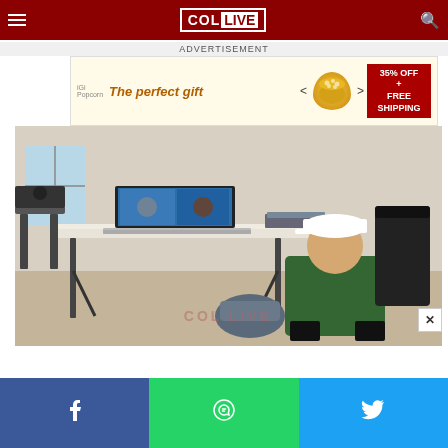COL LIVE
ADVERTISEMENT
[Figure (infographic): Advertisement banner: 'The perfect gift' with popcorn bowl image, navigation arrows, and '35% OFF + FREE SHIPPING' promo box]
[Figure (photo): Person wearing a white cap and green jacket, seated on a folding chair at a folding table, viewing a laptop showing a video call. A bag sits on the floor. COL LIVE watermark visible.]
[Figure (infographic): Social share bar with Facebook (blue), WhatsApp (green), and Twitter (light blue) icons]